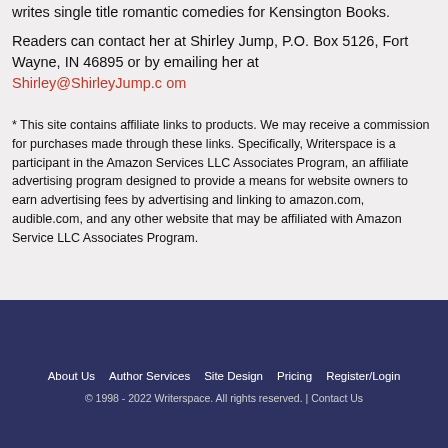writes single title romantic comedies for Kensington Books.
Readers can contact her at Shirley Jump, P.O. Box 5126, Fort Wayne, IN 46895 or by emailing her at Shirley@ShirleyJump.com
* This site contains affiliate links to products. We may receive a commission for purchases made through these links. Specifically, Writerspace is a participant in the Amazon Services LLC Associates Program, an affiliate advertising program designed to provide a means for website owners to earn advertising fees by advertising and linking to amazon.com, audible.com, and any other website that may be affiliated with Amazon Service LLC Associates Program.
About Us  Author Services  Site Design  Pricing  Register/Login
© 1998 - 2022 Writerspace. All rights reserved. | Contact Us